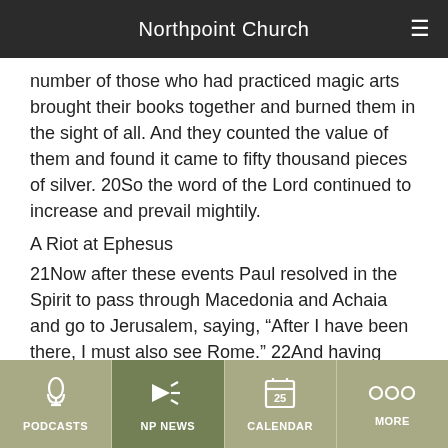Northpoint Church
number of those who had practiced magic arts brought their books together and burned them in the sight of all. And they counted the value of them and found it came to fifty thousand pieces of silver. 20So the word of the Lord continued to increase and prevail mightily.
A Riot at Ephesus
21Now after these events Paul resolved in the Spirit to pass through Macedonia and Achaia and go to Jerusalem, saying, “After I have been there, I must also see Rome.” 22And having sent into Macedonia two of his helpers, Timothy and Erastus, he himself stayed in Asia for a while.
Filed Under: SOTD
PODCASTS | NP NEWS | CALENDAR | MORE